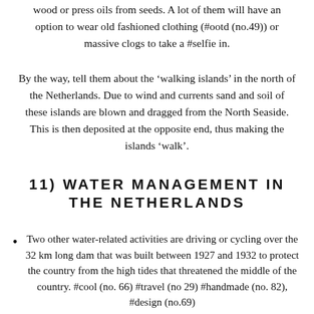wood or press oils from seeds. A lot of them will have an option to wear old fashioned clothing (#ootd (no.49)) or massive clogs to take a #selfie in.
By the way, tell them about the ‘walking islands’ in the north of the Netherlands. Due to wind and currents sand and soil of these islands are blown and dragged from the North Seaside. This is then deposited at the opposite end, thus making the islands ‘walk’.
11) WATER MANAGEMENT IN THE NETHERLANDS
Two other water-related activities are driving or cycling over the 32 km long dam that was built between 1927 and 1932 to protect the country from the high tides that threatened the middle of the country. #cool (no. 66) #travel (no 29) #handmade (no. 82), #design (no.69)
And the extensive combination of locks, dikes and floodgates in Zeeland. They were designed and constructed after a